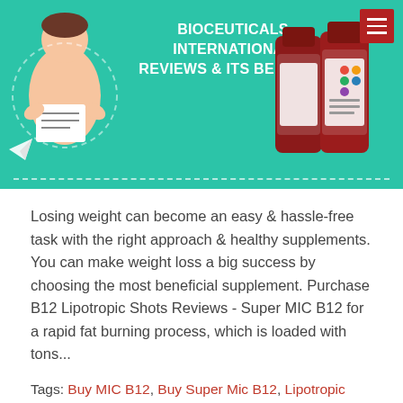[Figure (infographic): Promotional banner for Bioceuticals International Reviews & Its Benefits, teal/green background with person illustration on left and supplement bottles on right, hamburger menu button top right]
Losing weight can become an easy & hassle-free task with the right approach & healthy supplements. You can make weight loss a big success by choosing the most beneficial supplement. Purchase B12 Lipotropic Shots Reviews - Super MIC B12 for a rapid fat burning process, which is loaded with tons...
Tags: Buy MIC B12, Buy Super Mic B12, Lipotropic B12 Oral Shots, Lipotropic B12 Oral Shots Reviews, Mic B12 At Home Oral Lipo Shots, MIC B12 At Home Oral Shots, Mic B12 Lipotropic Shots, mic B12 Oral, mic B12 Oral Lipo Shots, mic B12 Oral Reviews, mic B12 Oral Shots, mic Lipotropic B12 At Home Oral Shots, mic Lipotropic B12 Oral, MIC Lipotropic B12 Oral Reviews, mic Lipotropic B12 Oral Shots, mic Lipotropic B12 Plus At Home Oral Lipo Shots Reviews, MIC